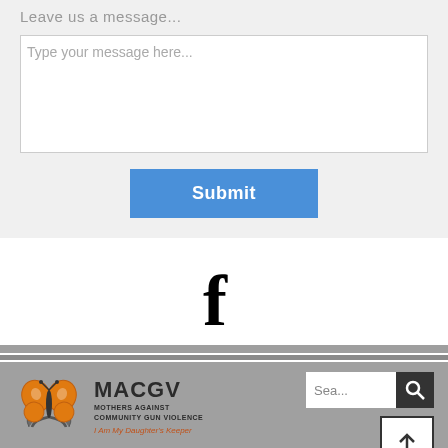Leave us a message...
Type your message here...
Submit
[Figure (logo): Facebook 'f' icon in black]
[Figure (logo): MACGV - Mothers Against Community Gun Violence logo with butterfly graphic, search bar, and up arrow button]